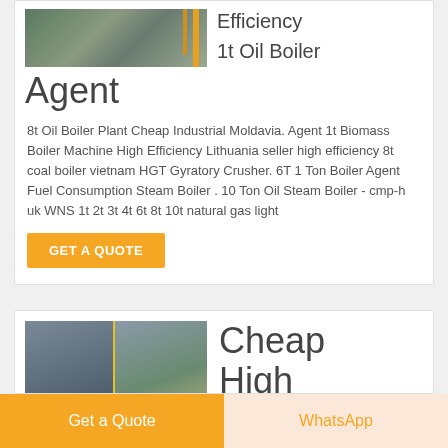[Figure (photo): Industrial boiler facility interior with yellow structural elements]
Efficiency 1t Oil Boiler Agent
8t Oil Boiler Plant Cheap Industrial Moldavia. Agent 1t Biomass Boiler Machine High Efficiency Lithuania seller high efficiency 8t coal boiler vietnam HGT Gyratory Crusher. 6T 1 Ton Boiler Agent Fuel Consumption Steam Boiler . 10 Ton Oil Steam Boiler - cmp-h uk WNS 1t 2t 3t 4t 6t 8t 10t natural gas light
GET A QUOTE
[Figure (photo): Industrial boiler equipment with yellow pipes in a factory setting]
Cheap High
Get a Quote
WhatsApp